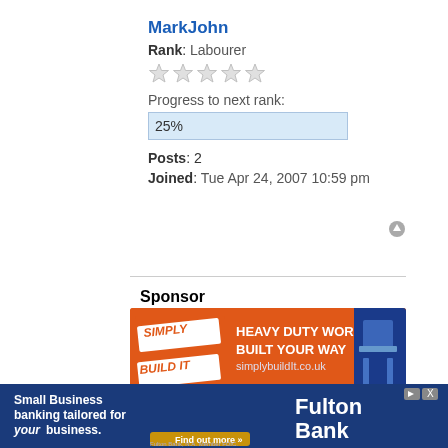MarkJohn
Rank: Labourer
Progress to next rank:
25%
Posts: 2
Joined: Tue Apr 24, 2007 10:59 pm
Sponsor
[Figure (illustration): Simply Build It advertisement banner - Heavy Duty Workbench Built Your Way, simplybuildIt.co.uk]
[Figure (illustration): Fulton Bank advertisement - Small Business banking tailored for your business. Find out more.]